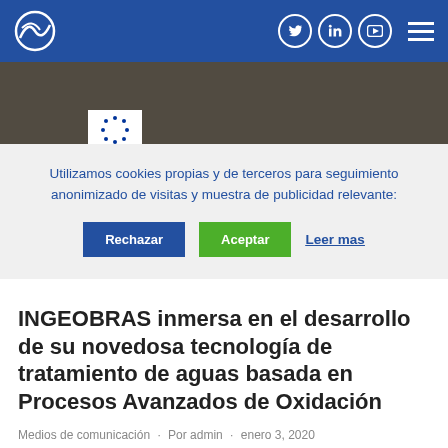INGEOBRAS — navigation header with logo and social icons
[Figure (photo): Hero banner photo showing food/cooking scene in background with EU flag logo and text: 'This project has received funding from the European Union's Horizon 2020 research and innovation programme under grant agreement No 858805'.]
Utilizamos cookies propias y de terceros para seguimiento anonimizado de visitas y muestra de publicidad relevante:
Rechazar   Aceptar   Leer mas
INGEOBRAS inmersa en el desarrollo de su novedosa tecnología de tratamiento de aguas basada en Procesos Avanzados de Oxidación
Medios de comunicación · Por admin · enero 3, 2020